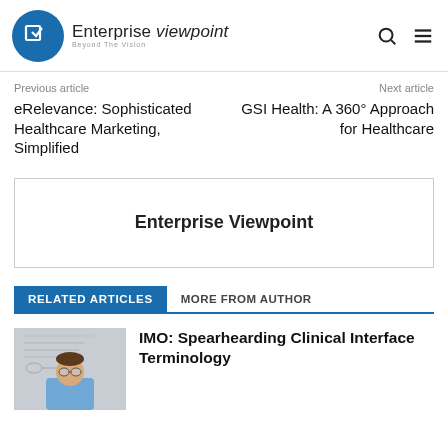Enterprise viewpoint — Beyond The Vision
Previous article
Next article
eRelevance: Sophisticated Healthcare Marketing, Simplified
GSI Health: A 360° Approach for Healthcare
[Figure (other): Enterprise Viewpoint advertisement/logo box with bold text 'Enterprise Viewpoint' in a bordered rectangle]
RELATED ARTICLES
MORE FROM AUTHOR
[Figure (photo): Thumbnail photo of a man in a blue shirt standing in front of a whiteboard with diagrams]
IMO: Spearhearding Clinical Interface Terminology